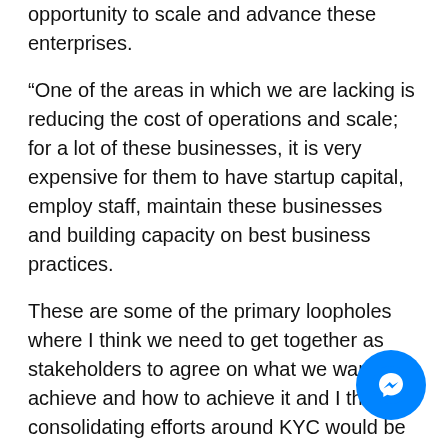opportunity to scale and advance these enterprises.
“One of the areas in which we are lacking is reducing the cost of operations and scale; for a lot of these businesses, it is very expensive for them to have startup capital, employ staff, maintain these businesses and building capacity on best business practices.
These are some of the primary loopholes where I think we need to get together as stakeholders to agree on what we want to achieve and how to achieve it and I think consolidating efforts around KYC would be key.”
The HiPipo Chief Executive Officer Innocent Kawooya applauds Beyonic, saying it has played a great financial inclusion across Africa, as its products and services are impacting thousands of people at the last mile.
He adds that FinTech in Africa offers attractive opportunities and that investors can rightfully pick…